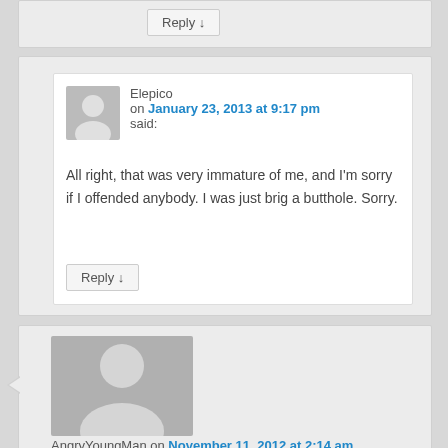Reply ↓
Elepico on January 23, 2013 at 9:17 pm said:
All right, that was very immature of me, and I'm sorry if I offended anybody. I was just brig a butthole. Sorry.
Reply ↓
AngryYoungMan on November 11, 2012 at 2:14 am